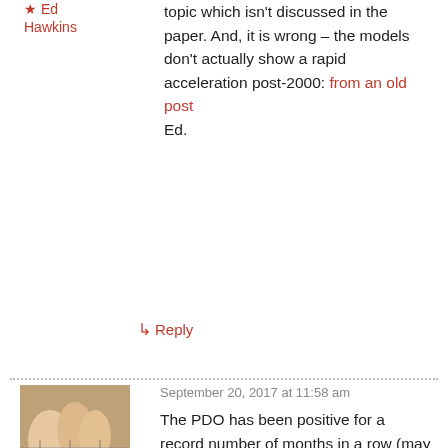★ Ed Hawkins
topic which isn't discussed in the paper. And, it is wrong – the models don't actually show a rapid acceleration post-2000: from an old post
Ed.
↳ Reply
September 20, 2017 at 11:58 am
JCH
[Figure (photo): Hand playing guitar frets, close-up photo used as commenter avatar]
The PDO has been positive for a record number of months in a row (may go negative when the August 2017 number comes out.) During this powerful surge in the PDO the GMST has gone way up: aggressively so. In 2016 there was a La Niña that barely cooled the GMST at all. The 2010